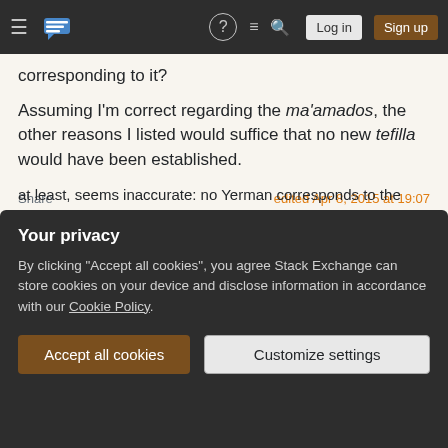Stack Exchange navigation bar with Log in and Sign up buttons
corresponding to it?
Assuming I'm correct regarding the ma'amados, the other reasons I listed would suffice that no new tefilla would have been established.
Share
Improve this answer
Follow
edited Apr 8, 2015 at 19:07
answered Apr 2, 2015 at 3:02
J. C. Salomon
Your privacy
By clicking "Accept all cookies", you agree Stack Exchange can store cookies on your device and disclose information in accordance with our Cookie Policy.
Accept all cookies   Customize settings
at least, seems inaccurate: no Yerman corresponds to the